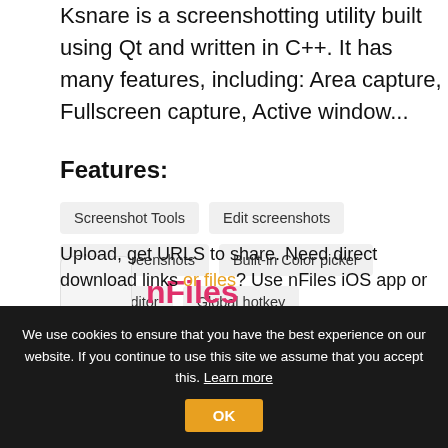Ksnare is a screenshotting utility built using Qt and written in C++. It has many features, including: Area capture, Fullscreen capture, Active window...
Features:
Screenshot Tools
Edit screenshots
Share screenshots
Built-in Color picker
Built-in editor
Global hotkey
Instant edit screenshots
Screen recording
Share your screen
Screenshot Tools
Support for Hotkeys
Record videos
nFiles
5
Upload, get URLS to share. Need direct download links or files? Use nFiles iOS app or...
We use cookies to ensure that you have the best experience on our website. If you continue to use this site we assume that you accept this. Learn more
OK